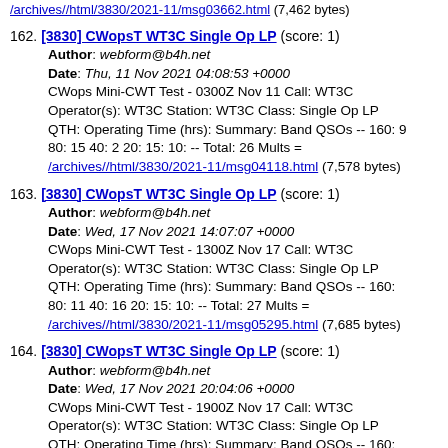/archives//html/3830/2021-11/msg03662.html (7,462 bytes)
162. [3830] CWopsT WT3C Single Op LP (score: 1)
Author: webform@b4h.net
Date: Thu, 11 Nov 2021 04:08:53 +0000
CWops Mini-CWT Test - 0300Z Nov 11 Call: WT3C Operator(s): WT3C Station: WT3C Class: Single Op LP QTH: Operating Time (hrs): Summary: Band QSOs -- 160: 9 80: 15 40: 2 20: 15: 10: -- Total: 26 Mults =
/archives//html/3830/2021-11/msg04118.html (7,578 bytes)
163. [3830] CWopsT WT3C Single Op LP (score: 1)
Author: webform@b4h.net
Date: Wed, 17 Nov 2021 14:07:07 +0000
CWops Mini-CWT Test - 1300Z Nov 17 Call: WT3C Operator(s): WT3C Station: WT3C Class: Single Op LP QTH: Operating Time (hrs): Summary: Band QSOs -- 160: 80: 11 40: 16 20: 15: 10: -- Total: 27 Mults =
/archives//html/3830/2021-11/msg05295.html (7,685 bytes)
164. [3830] CWopsT WT3C Single Op LP (score: 1)
Author: webform@b4h.net
Date: Wed, 17 Nov 2021 20:04:06 +0000
CWops Mini-CWT Test - 1900Z Nov 17 Call: WT3C Operator(s): WT3C Station: WT3C Class: Single Op LP QTH: Operating Time (hrs): Summary: Band QSOs -- 160: